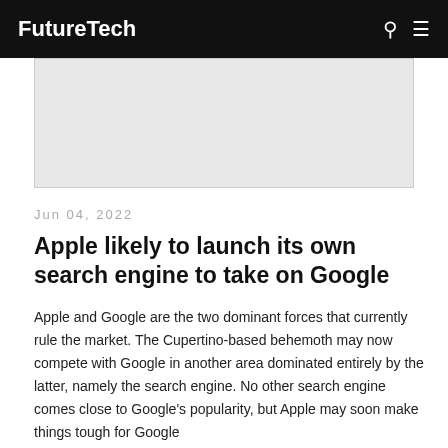FutureTech
[Figure (other): Advertisement banner placeholder (grey rectangle)]
Jun 04, 2022
Apple likely to launch its own search engine to take on Google
Apple and Google are the two dominant forces that currently rule the market. The Cupertino-based behemoth may now compete with Google in another area dominated entirely by the latter, namely the search engine. No other search engine comes close to Google's popularity, but Apple may soon make things tough for Google